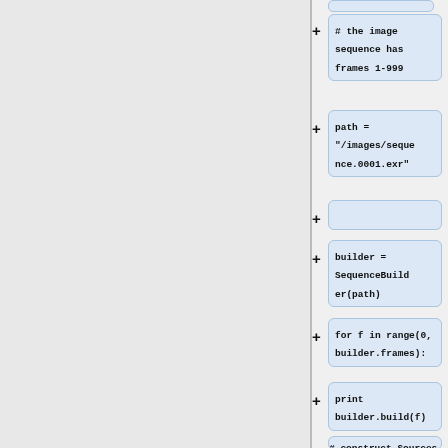[Figure (screenshot): Code diff view showing Python code blocks with plus signs indicating additions. Blocks contain: '# the image sequence has frames 1-999', 'path = "/images/sequence.0001.exr"', empty block, 'builder = SequenceBuilder(path)', 'for f in range(0, builder.frames):', '    print builder.build(f)', empty block, '# construct Sources using']
# the image sequence has frames 1-999
path = "/images/sequence.0001.exr"
builder = SequenceBuilder(path)
for f in range(0, builder.frames):
print builder.build(f)
# construct Sources using